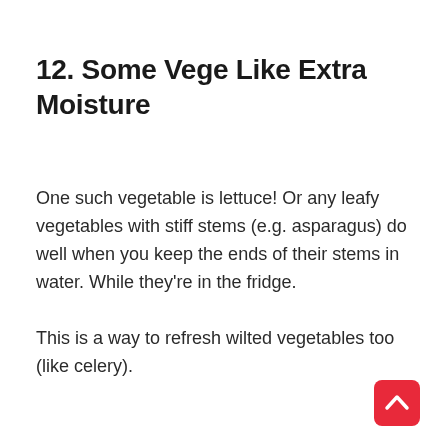12. Some Vege Like Extra Moisture
One such vegetable is lettuce! Or any leafy vegetables with stiff stems (e.g. asparagus) do well when you keep the ends of their stems in water. While they're in the fridge.
This is a way to refresh wilted vegetables too (like celery).
[Figure (other): Red rounded-square back-to-top button with white upward chevron arrow]